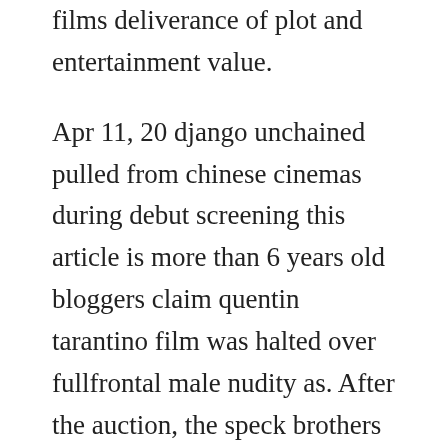films deliverance of plot and entertainment value.
Apr 11, 20 django unchained pulled from chinese cinemas during debut screening this article is more than 6 years old bloggers claim quentin tarantino film was halted over fullfrontal male nudity as. After the auction, the speck brothers and their recent purchases slaves are traveling back to their farm when a stranger in the road stops them. Extension workshop developer hub download firefox register or log in. Elayna boynton tratto dallalbum quentin tarantinos django